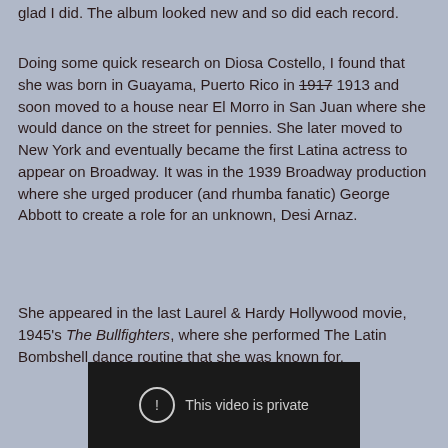glad I did. The album looked new and so did each record.
Doing some quick research on Diosa Costello, I found that she was born in Guayama, Puerto Rico in 1917 [strikethrough] 1913 and soon moved to a house near El Morro in San Juan where she would dance on the street for pennies. She later moved to New York and eventually became the first Latina actress to appear on Broadway. It was in the 1939 Broadway production where she urged producer (and rhumba fanatic) George Abbott to create a role for an unknown, Desi Arnaz.
She appeared in the last Laurel & Hardy Hollywood movie, 1945's The Bullfighters, where she performed The Latin Bombshell dance routine that she was known for.
[Figure (screenshot): Embedded video player showing 'This video is private' message with a circle exclamation icon on a dark background.]